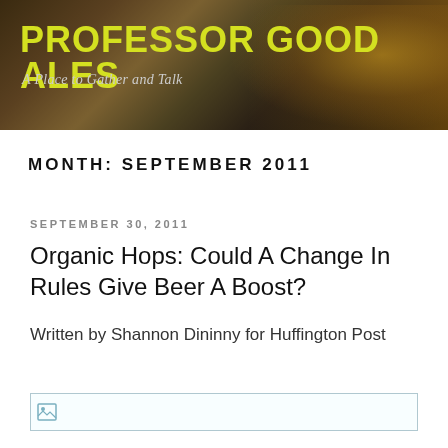[Figure (photo): Header banner with dark background showing beer glasses, with bold yellow site title 'PROFESSOR GOOD ALES' and italic tagline 'A Place to Gather and Talk']
PROFESSOR GOOD ALES
A Place to Gather and Talk
MONTH: SEPTEMBER 2011
SEPTEMBER 30, 2011
Organic Hops: Could A Change In Rules Give Beer A Boost?
Written by Shannon Dininny for Huffington Post
[Figure (photo): Broken image placeholder — a small broken image icon on the left side of a bordered rectangular box]